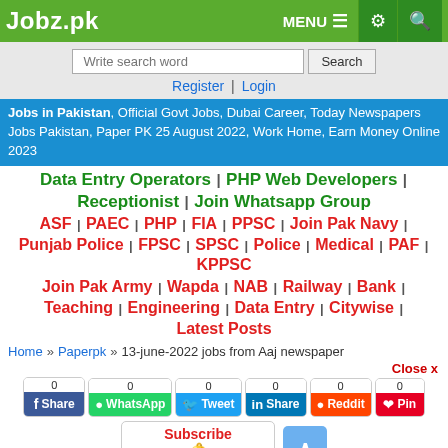Jobz.pk — MENU, settings, search icons
Write search word [Search] Register | Login
Jobs in Pakistan, Official Govt Jobs, Dubai Career, Today Newspapers Jobs Pakistan, Paper PK 25 August 2022, Work Home, Earn Money Online 2023
Data Entry Operators | PHP Web Developers | Receptionist | Join Whatsapp Group
ASF | PAEC | PHP | FIA | PPSC | Join Pak Navy | Punjab Police | FPSC | SPSC | Police | Medical | PAF | KPPSC
Join Pak Army | Wapda | NAB | Railway | Bank | Teaching | Engineering | Data Entry | Citywise | Latest Posts
Home » Paperpk » 13-june-2022 jobs from Aaj newspaper
Close x
0 Share | 0 WhatsApp | 0 Tweet | 0 Share | 0 Reddit | 0 Pin
Subscribe
Alerts | Register | Login